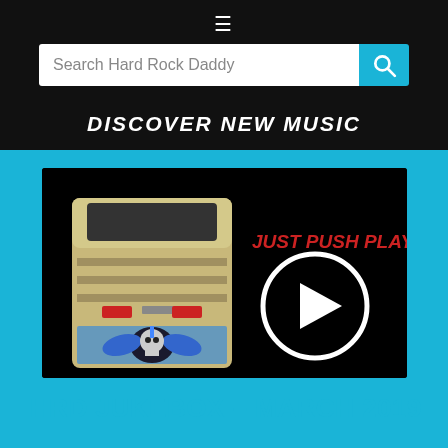[Figure (screenshot): Navigation hamburger menu icon (three horizontal lines) on black background]
[Figure (screenshot): Search bar with placeholder text 'Search Hard Rock Daddy' and a cyan search button with magnifying glass icon]
DISCOVER NEW MUSIC
[Figure (illustration): HRD Jukebox image on black background showing a jukebox with HRD logo, with text 'JUST PUSH PLAY' in red and a circular play button on the right]
HRD JUKEBOX – MARCH 2019